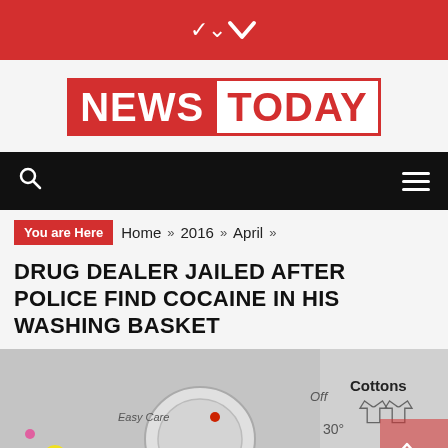▾
[Figure (logo): NEWS TODAY logo: NEWS in white text on red background, TODAY in red text on white background, both framed with red border]
Navigation bar with search icon and hamburger menu
You are Here   Home »  2016 »  April »
DRUG DEALER JAILED AFTER POLICE FIND COCAINE IN HIS WASHING BASKET
[Figure (photo): Close-up photo of a washing machine control dial showing settings: Easy Care, Off, 30°, 40, Cottons with clothing icons]